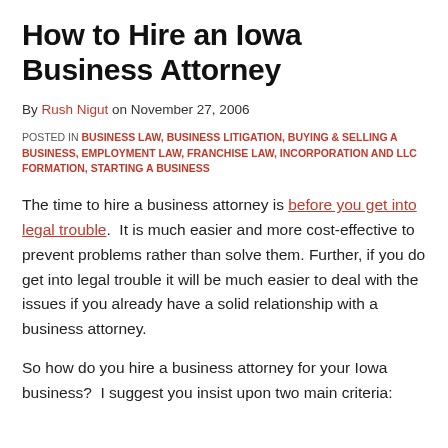How to Hire an Iowa Business Attorney
By Rush Nigut on November 27, 2006
POSTED IN BUSINESS LAW, BUSINESS LITIGATION, BUYING & SELLING A BUSINESS, EMPLOYMENT LAW, FRANCHISE LAW, INCORPORATION AND LLC FORMATION, STARTING A BUSINESS
The time to hire a business attorney is before you get into legal trouble.  It is much easier and more cost-effective to prevent problems rather than solve them.  Further, if you do get into legal trouble it will be much easier to deal with the issues if you already have a solid relationship with a business attorney.
So how do you hire a business attorney for your Iowa business?  I suggest you insist upon two main criteria: